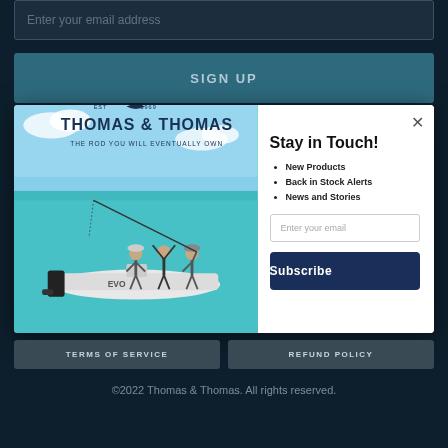Enter your email address
SIGN UP
[Figure (screenshot): Modal popup for Thomas & Thomas rod company newsletter signup. Left half shows photo of fishing boat with people fishing on turquoise water with Thomas & Thomas logo and tagline 'THE ROD YOU WILL EVENTUALLY OWN'. Right half has 'Stay in Touch!' heading, bullet list of New Products, Back in Stock Alerts, News and Stories, an email input field and a Subscribe button with a close X button.]
TERMS OF SERVICE
REFUND POLICY
©2022 Thomas & Thomas. All rights reserved.